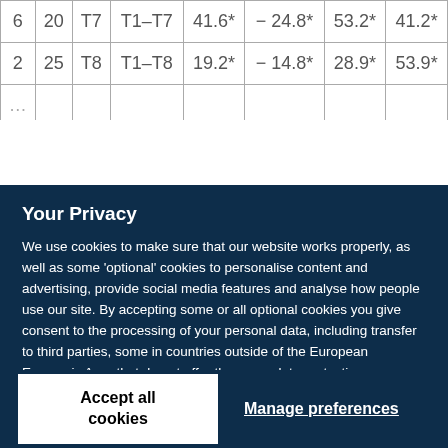| 6 | 20 | T7 | T1–T7 | 41.6* | − 24.8* | 53.2* | 41.2* |
| 2 | 25 | T8 | T1–T8 | 19.2* | − 14.8* | 28.9* | 53.9* |
Your Privacy
We use cookies to make sure that our website works properly, as well as some 'optional' cookies to personalise content and advertising, provide social media features and analyse how people use our site. By accepting some or all optional cookies you give consent to the processing of your personal data, including transfer to third parties, some in countries outside of the European Economic Area that do not offer the same data protection standards as the country where you live. You can decide which optional cookies to accept by clicking on 'Manage Settings', where you can also find more information about how your personal data is processed. Further information can be found in our privacy policy.